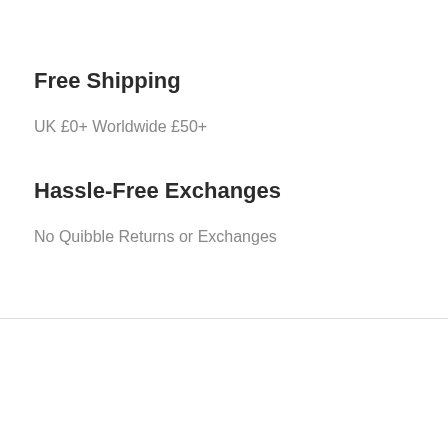Free Shipping
UK £0+ Worldwide £50+
Hassle-Free Exchanges
No Quibble Returns or Exchanges
Quick links
Home
Jewellery